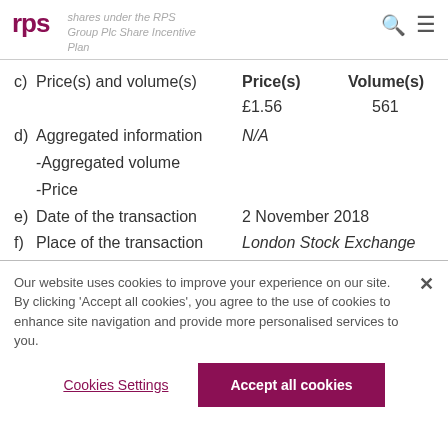rps | shares under the RPS Group Plc Share Incentive Plan
|  | Price(s) | Volume(s) |
| --- | --- | --- |
| c) Price(s) and volume(s) | £1.56 | 561 |
| d) Aggregated information -Aggregated volume -Price | N/A |  |
| e) Date of the transaction | 2 November 2018 |  |
| f) Place of the transaction | London Stock Exchange |  |
Our website uses cookies to improve your experience on our site. By clicking 'Accept all cookies', you agree to the use of cookies to enhance site navigation and provide more personalised services to you.